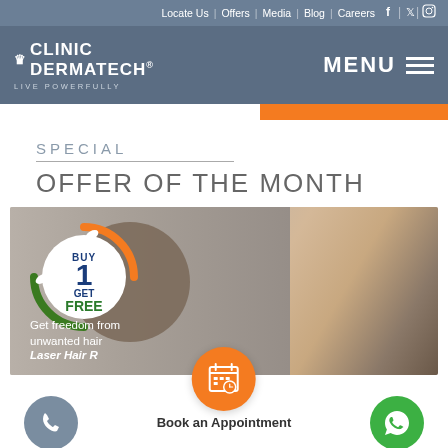Locate Us | Offers | Media | Blog | Careers
[Figure (logo): Clinic Dermatech logo with crown icon and tagline LIVE POWERFULLY, with MENU button on right]
SPECIAL
OFFER OF THE MONTH
[Figure (photo): Promotional banner: BUY 1 GET 1 FREE badge with orange and green swirl, text Get freedom from unwanted hair Laser Hair Removal, woman with curly hair smiling in background]
Book an Appointment